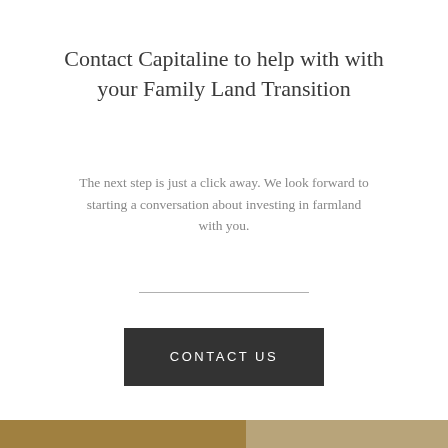Contact Capitaline to help with with your Family Land Transition
The next step is just a click away. We look forward to starting a conversation about investing in farmland with you.
[Figure (other): Horizontal divider line]
CONTACT US
[Figure (other): Footer color bar: left portion gold/olive, right portion tan/khaki]